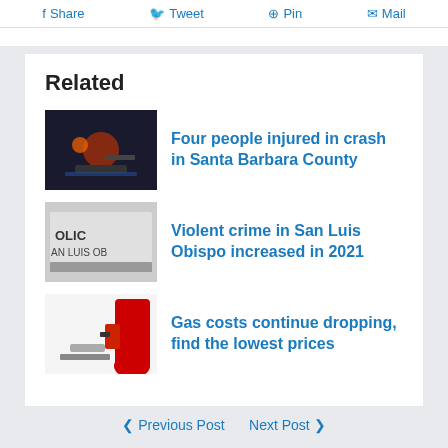Share  Tweet  Pin  Mail
Related
Four people injured in crash in Santa Barbara County
Violent crime in San Luis Obispo increased in 2021
Gas costs continue dropping, find the lowest prices
Previous Post   Next Post